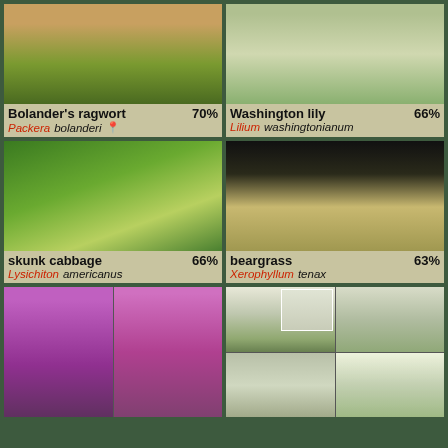[Figure (photo): Photo of Bolander's ragwort plant with yellow flowers, hand visible]
Bolander's ragwort 70% Packera bolanderi
[Figure (photo): Photo of Washington lily with white flowers]
Washington lily 66% Lilium washingtonianum
[Figure (photo): Photo of skunk cabbage with large green leaves and yellow spathe]
skunk cabbage 66% Lysichiton americanus
[Figure (photo): Photo of beargrass with white fluffy flower cluster on dark background]
beargrass 63% Xerophyllum tenax
[Figure (photo): Two photos of foxglove (Digitalis) with purple flowers]
[Figure (photo): Four photos of yarrow (Achillea) with white flower clusters, including an inset close-up]